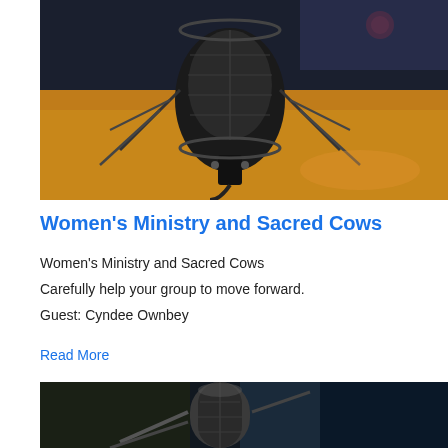[Figure (photo): Close-up photo of a professional studio condenser microphone in a shock mount, with blurred orange and dark blue background of a recording studio]
Women's Ministry and Sacred Cows
Women's Ministry and Sacred Cows
Carefully help your group to move forward.
Guest: Cyndee Ownbey
Read More
[Figure (photo): Partial view of a studio microphone from below, with blurred colorful background]